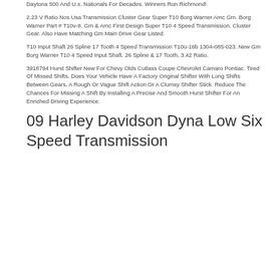Daytona 500 And U.s. Nationals For Decades. Winners Run Richmond!.
2.23 V Ratio Nos Usa Transmission Cluster Gear Super T10 Borg Warner Amc Gm. Borg Warner Part # T10v-8. Gm & Amc First Design Super T10 4 Speed Transmission. Cluster Gear. Also Have Matching Gm Main Drive Gear Listed.
T10 Input Shaft 26 Spline 17 Tooth 4 Speed Transmission T10u-16b 1304-085-023. New Gm Borg Warner T10 4 Speed Input Shaft. 26 Spline & 17 Tooth, 3.42 Ratio.
3918794 Hurst Shifter New For Chevy Olds Cutlass Coupe Chevrolet Camaro Pontiac. Tired Of Missed Shifts. Does Your Vehicle Have A Factory Original Shifter With Long Shifts Between Gears, A Rough Or Vague Shift Action Or A Clumsy Shifter Stick. Reduce The Chances For Missing A Shift By Installing A Precise And Smooth Hurst Shifter For An Enriched Driving Experience.
09 Harley Davidson Dyna Low Six Speed Transmission